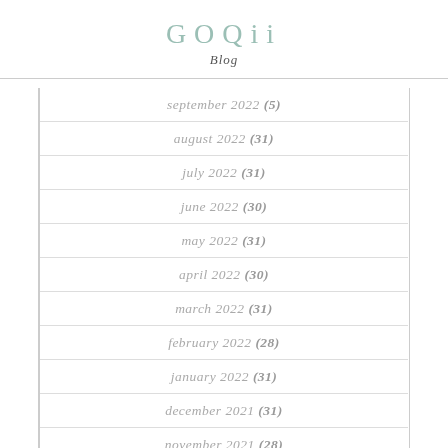GOQii Blog
september 2022 (5)
august 2022 (31)
july 2022 (31)
june 2022 (30)
may 2022 (31)
april 2022 (30)
march 2022 (31)
february 2022 (28)
january 2022 (31)
december 2021 (31)
november 2021 (28)